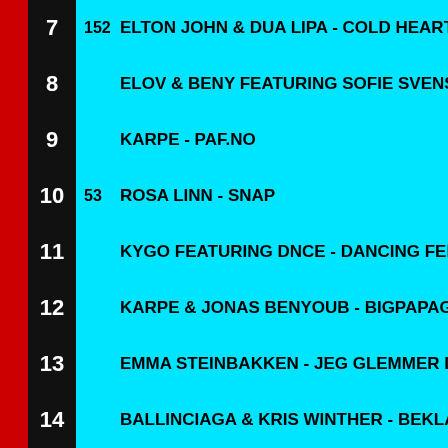7  152  ELTON JOHN & DUA LIPA - COLD HEART
8       ELOV & BENY FEATURING SOFIE SVENSSON
9       KARPE - PAF.NO
10  53  ROSA LINN - SNAP
11      KYGO FEATURING DNCE - DANCING FEET
12      KARPE & JONAS BENYOUB - BIGPAPAGO
13      EMMA STEINBAKKEN - JEG GLEMMER DEG
14      BALLINCIAGA & KRIS WINTHER - BEKLAG